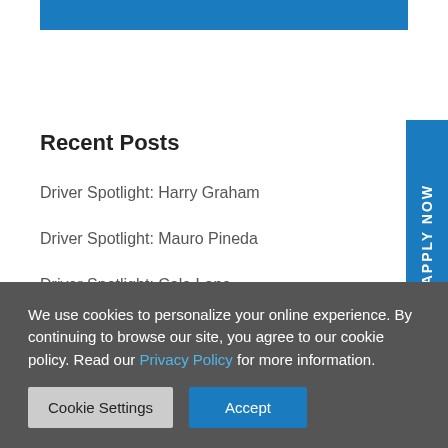[Figure (other): Blue horizontal banner bar at the top of the page]
Recent Posts
Driver Spotlight: Harry Graham
Driver Spotlight: Mauro Pineda
Driver Spotlight: Cole Lane
Driver Spotlight: Misty Robles
Driver Spotlight: Derek Pineda
We use cookies to personalize your online experience. By continuing to browse our site, you agree to our cookie policy. Read our Privacy Policy for more information.
Cookie Settings | Accept